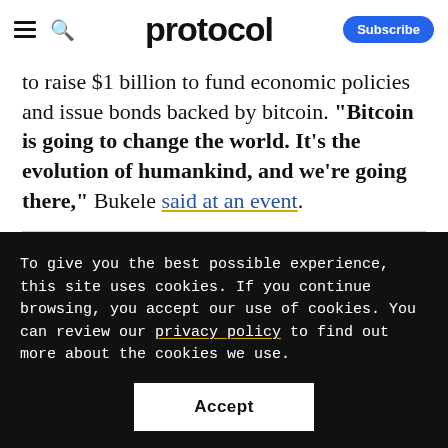protocol
to raise $1 billion to fund economic policies and issue bonds backed by bitcoin. “Bitcoin is going to change the world. It’s the evolution of humankind, and we’re going there,” Bukele said at an event.
To give you the best possible experience, this site uses cookies. If you continue browsing, you accept our use of cookies. You can review our privacy policy to find out more about the cookies we use.
Accept